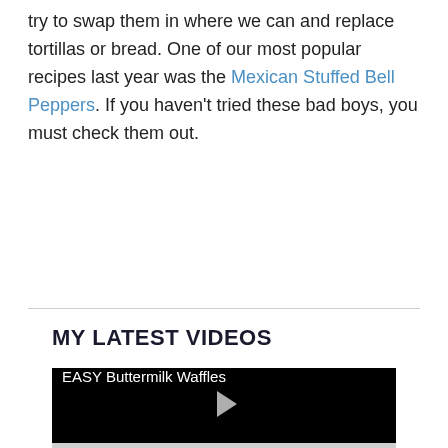try to swap them in where we can and replace tortillas or bread. One of our most popular recipes last year was the Mexican Stuffed Bell Peppers. If you haven't tried these bad boys, you must check them out.
MY LATEST VIDEOS
[Figure (screenshot): Video thumbnail with black background showing title 'EASY Buttermilk Waffles' and a play button in the center]